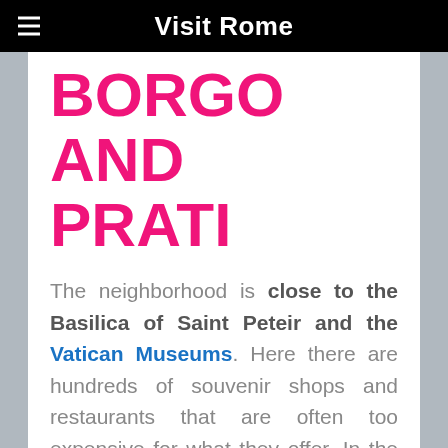Visit Rome
BORGO AND PRATI
The neighborhood is close to the Basilica of Saint Peteir and the Vatican Museums. Here there are hundreds of souvenir shops and restaurants that are often too expensive for what they offer. In the wealthy area of Prati there is a good choice of hotels, shops and restaurants. It is well connected to the subway.